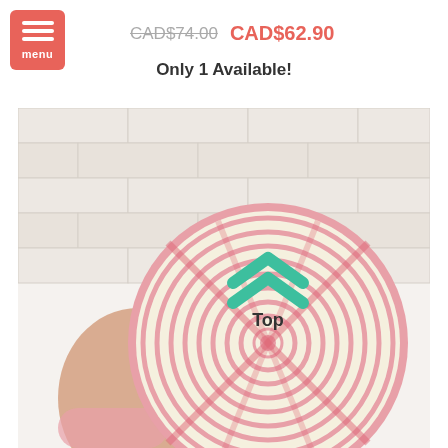[Figure (other): Red/coral hamburger menu button icon with three horizontal white lines and the label 'menu' below them, on a coral/salmon rounded rectangle background]
CAD$74.00  CAD$62.90
Only 1 Available!
[Figure (photo): A hand holding a round woven basket/bowl with pink and cream spiral pattern and a green arrow pointing up with the word 'Top', against a white brick wall background]